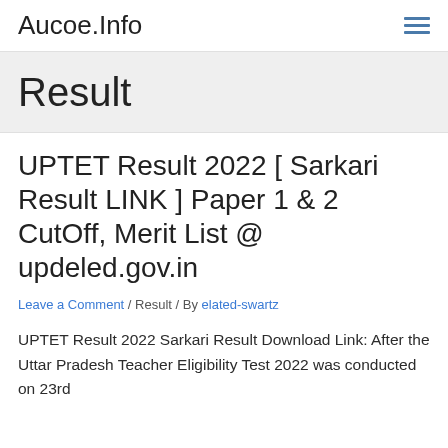Aucoe.Info
Result
UPTET Result 2022 [ Sarkari Result LINK ] Paper 1 & 2 CutOff, Merit List @ updeled.gov.in
Leave a Comment / Result / By elated-swartz
UPTET Result 2022 Sarkari Result Download Link: After the Uttar Pradesh Teacher Eligibility Test 2022 was conducted on 23rd